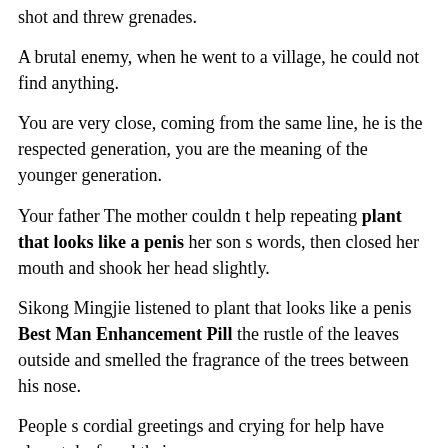shot and threw grenades.
A brutal enemy, when he went to a village, he could not find anything.
You are very close, coming from the same line, he is the respected generation, you are the meaning of the younger generation.
Your father The mother couldn t help repeating plant that looks like a penis her son s words, then closed her mouth and shook her head slightly.
Sikong Mingjie listened to plant that looks like a penis Best Man Enhancement Pill the rustle of the leaves outside and smelled the fragrance of the trees between his nose.
People s cordial greetings and crying for help have almost deafened their ears.
Unknowingly, a few years later, Master Di was forty eight years old, Master Cheap how much does it cost to get a penis enlargement Di Qing was seven years old, and Miss Jinluan was how much does it cost to get a penis enlargement Penis Enlargemenr sixteen years old.
I thought about it in my mind I wanted to come to Di Qing, the